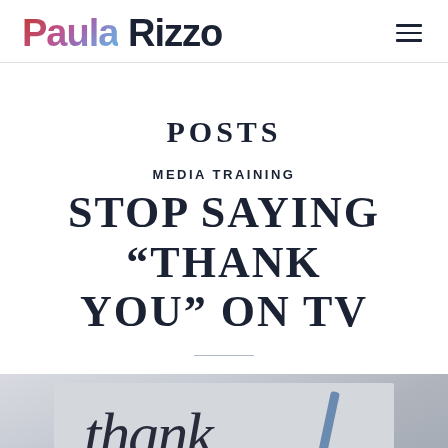Paula Rizzo
POSTS
MEDIA TRAINING
STOP SAYING “THANK YOU” ON TV
[Figure (photo): Handwritten 'thank' text visible on a notecard with a pen, cropped photo at bottom of page]